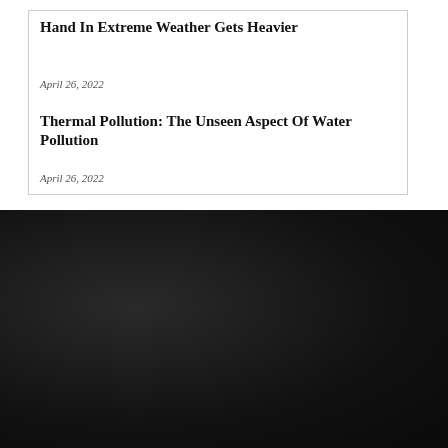Hand In Extreme Weather Gets Heavier
April 26, 2022
Thermal Pollution: The Unseen Aspect Of Water Pollution
April 26, 2022
© Pune, LLC. All rights reserved. The Planet Voice® is a registered IN. trademark of LLC.
Made with: Made with <3 Noetbook